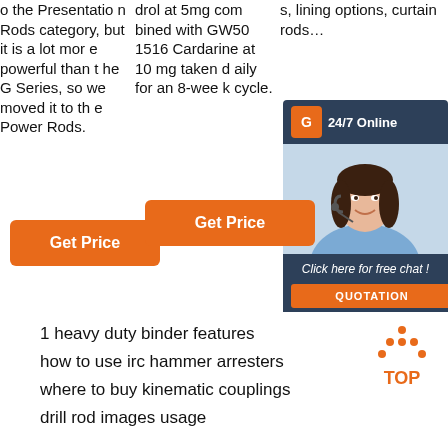o the Presentation Rods category, but it is a lot more powerful than the G Series, so we moved it to the Power Rods.
drol at 5mg combined with GW501516 Cardarine at 10 mg taken daily for an 8-week cycle.
s, lining options, curtain rods…
[Figure (other): 24/7 online chat widget with female customer service representative photo, 'Click here for free chat!' text and QUOTATION button]
Get Price
Get Price
1 heavy duty binder features
how to use irc hammer arresters
where to buy kinematic couplings
drill rod images usage
[Figure (other): TOP icon — orange dotted triangle with 'TOP' text in orange]